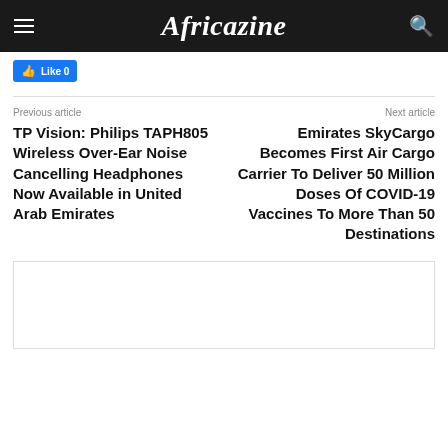Africazine
Like 0
Previous article
Next article
TP Vision: Philips TAPH805 Wireless Over-Ear Noise Cancelling Headphones Now Available in United Arab Emirates
Emirates SkyCargo Becomes First Air Cargo Carrier To Deliver 50 Million Doses Of COVID-19 Vaccines To More Than 50 Destinations
[Figure (other): Advertisement box placeholder at bottom of page]